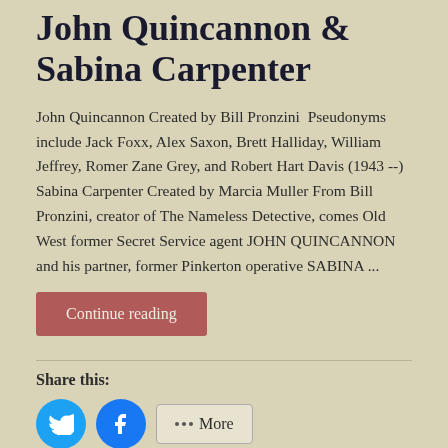John Quincannon & Sabina Carpenter
John Quincannon Created by Bill Pronzini  Pseudonyms include Jack Foxx, Alex Saxon, Brett Halliday, William Jeffrey, Romer Zane Grey, and Robert Hart Davis (1943 --) Sabina Carpenter Created by Marcia Muller From Bill Pronzini, creator of The Nameless Detective, comes Old West former Secret Service agent JOHN QUINCANNON and his partner, former Pinkerton operative SABINA ...
Continue reading
Share this:
More
Like this:
Loading